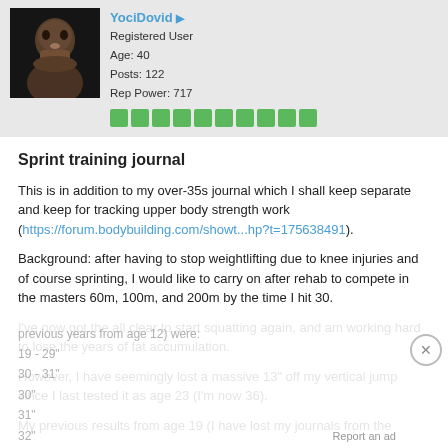[Figure (photo): User avatar photo of a man with a beard]
YociDovid
Registered User
Age: 40
Posts: 122
Rep Power: 717
[Figure (infographic): Green reputation power blocks (10 green squares)]
Sprint training journal
This is in addition to my over-35s journal which I shall keep separate and keep for tracking upper body strength work (https://forum.bodybuilding.com/showt...hp?t=175638491).
Background: after having to stop weightlifting due to knee injuries and of course sprinting, I would like to carry on after rehab to compete in the masters 60m, 100m, and 200m by the time I hit 30.
I've now got the all clear to start squatting again, and am working hard to lose the years of fat accumulation.
However, I have seemingly lost a massive 13" off my vertical jump since I last tested it as age 23 (I'm now 36).
My previous results from age 19 (I have lost my journals from the previous years from age 12) were:
19 - 29"
30 - 31"
30"
31"
32"